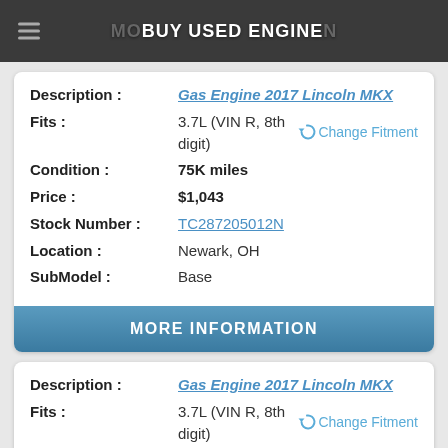BUY USED ENGINE
| Field | Value |
| --- | --- |
| Description : | Gas Engine 2017 Lincoln MKX |
| Fits : | 3.7L (VIN R, 8th digit)  Change Fitment |
| Condition : | 75K miles |
| Price : | $1,043 |
| Stock Number : | TC287205012N |
| Location : | Newark, OH |
| SubModel : | Base |
MORE INFORMATION
| Field | Value |
| --- | --- |
| Description : | Gas Engine 2017 Lincoln MKX |
| Fits : | 3.7L (VIN R, 8th digit)  Change Fitment |
| Condition : | 39K miles |
| Price : | $1,163 |
| Stock Number : | TD315763765G |
| Location : | Tampa Or Ocala, FL |
| SubModel : | Base |